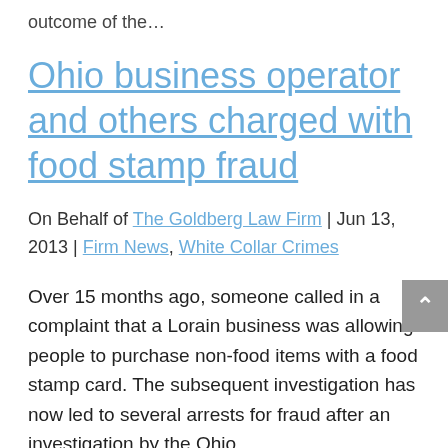outcome of the…
Ohio business operator and others charged with food stamp fraud
On Behalf of The Goldberg Law Firm | Jun 13, 2013 | Firm News, White Collar Crimes
Over 15 months ago, someone called in a complaint that a Lorain business was allowing people to purchase non-food items with a food stamp card. The subsequent investigation has now led to several arrests for fraud after an investigation by the Ohio